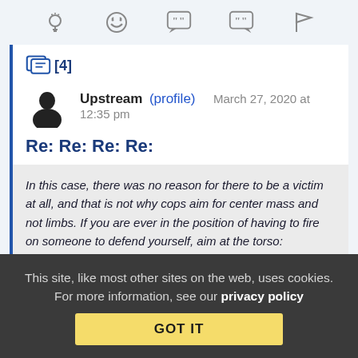[Figure (other): Toolbar with icons: lightbulb, laughing emoji, speech bubble with quote marks, speech bubble with quote mark, flag]
[4]
Upstream (profile)   March 27, 2020 at 12:35 pm
Re: Re: Re: Re:
In this case, there was no reason for there to be a victim at all, and that is not why cops aim for center mass and not limbs. If you are ever in the position of having to fire on someone to defend yourself, aim at the torso:
This site, like most other sites on the web, uses cookies. For more information, see our privacy policy
GOT IT